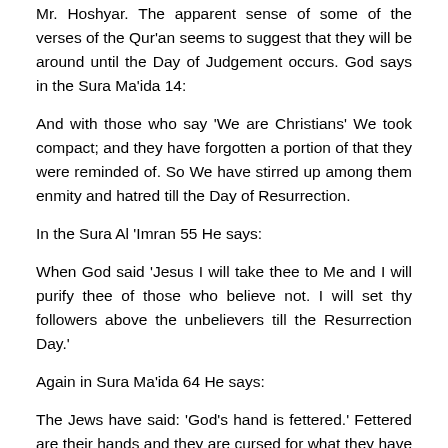Mr. Hoshyar. The apparent sense of some of the verses of the Qur'an seems to suggest that they will be around until the Day of Judgement occurs. God says in the Sura Ma'ida 14:
And with those who say 'We are Christians' We took compact; and they have forgotten a portion of that they were reminded of. So We have stirred up among them enmity and hatred till the Day of Resurrection.
In the Sura Al 'Imran 55 He says:
When God said 'Jesus I will take thee to Me and I will purify thee of those who believe not. I will set thy followers above the unbelievers till the Resurrection Day.'
Again in Sura Ma'ida 64 He says:
The Jews have said: 'God's hand is fettered.' Fettered are their hands and they are cursed for what they have said. Nay but His hands are outspread; He expends how He will. And what has been sent down to thee from Thy Lord will surely increase many of them